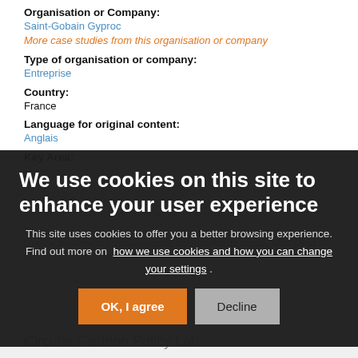Organisation or Company:
Saint-Gobain Gyproc
More case studies from this organisation or company
Type of organisation or company:
Entreprise
Country:
France
Language for original content:
Anglais
Key Area:
Gestion des déchets
We use cookies on this site to enhance your user experience
This site uses cookies to offer you a better browsing experience. Find out more on how we use cookies and how you can change your settings .
OK, I agree
Decline
Circular Fashion Policy Lab